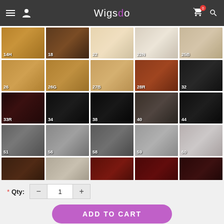Wigsdo
[Figure (other): Grid of hair color swatches labeled: 14H, 18, 22, 22N, 25B, 26, 26G, 27B, 28R, 32, 33R, 34, 38, 40, 44, 51, 56, 58, 59, 60, 101, 102, 130, 131, 132, 133, 478GR, 613, 672B]
* Qty: - 1 +
ADD TO CART